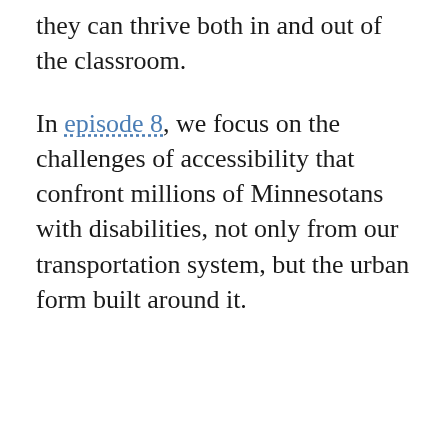they can thrive both in and out of the classroom.
In episode 8, we focus on the challenges of accessibility that confront millions of Minnesotans with disabilities, not only from our transportation system, but the urban form built around it.